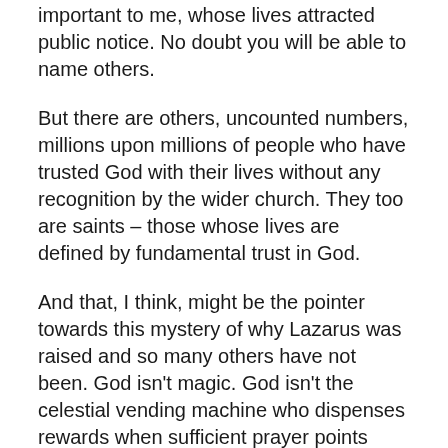important to me, whose lives attracted public notice. No doubt you will be able to name others.
But there are others, uncounted numbers, millions upon millions of people who have trusted God with their lives without any recognition by the wider church. They too are saints – those whose lives are defined by fundamental trust in God.
And that, I think, might be the pointer towards this mystery of why Lazarus was raised and so many others have not been. God isn't magic. God isn't the celestial vending machine who dispenses rewards when sufficient prayer points have been accrued. God isn't a frequent-flyer programme. God created a world where death and life are in a perpetual dance – where death is required for new life to come. But it is also, and more importantly, God created